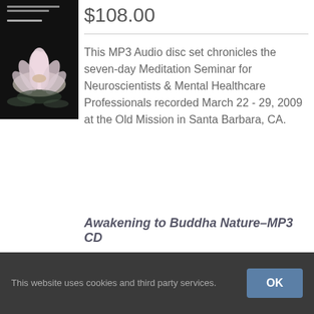[Figure (photo): Book/CD cover with lotus flower on dark background]
$108.00
This MP3 Audio disc set chronicles the seven-day Meditation Seminar for Neuroscientists & Mental Healthcare Professionals recorded March 22 - 29, 2009 at the Old Mission in Santa Barbara, CA.
Awakening to Buddha Nature–MP3 CD
This website uses cookies and third party services.